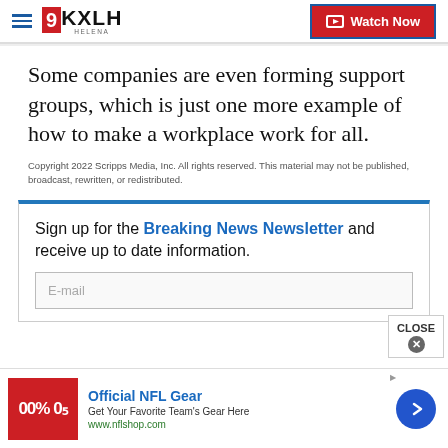9KXLH Helena | Watch Now
Some companies are even forming support groups, which is just one more example of how to make a workplace work for all.
Copyright 2022 Scripps Media, Inc. All rights reserved. This material may not be published, broadcast, rewritten, or redistributed.
Sign up for the Breaking News Newsletter and receive up to date information.
E-mail
[Figure (screenshot): Advertisement for Official NFL Gear showing red banner image, title 'Official NFL Gear', description 'Get Your Favorite Team's Gear Here', URL 'www.nflshop.com', and a blue circular arrow button.]